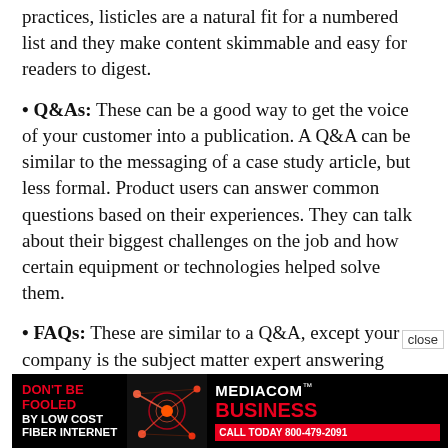practices, listicles are a natural fit for a numbered list and they make content skimmable and easy for readers to digest.
• Q&As: These can be a good way to get the voice of your customer into a publication. A Q&A can be similar to the messaging of a case study article, but less formal. Product users can answer common questions based on their experiences. They can talk about their biggest challenges on the job and how certain equipment or technologies helped solve them.
• FAQs: These are similar to a Q&A, except your company is the subject matter expert answering common questions. These questions can be specific to technologies or products, or r [close] gen[eral or industry best] prac[tices]
[Figure (other): Mediacom Business advertisement banner. Black background with red and white text: DON'T BE FOOLED BY LOW COST FIBER INTERNET, with an image of a fiber/network graphic, and MEDIACOM BUSINESS branding. Call to action: CALL TODAY 800-479-2091]